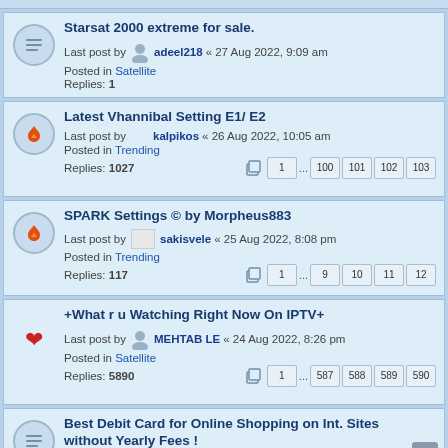Starsat 2000 extreme for sale. Last post by adeel218 « 27 Aug 2022, 9:09 am Posted in Satellite Replies: 1
Latest Vhannibal Setting E1/ E2 Last post by kalpikos « 26 Aug 2022, 10:05 am Posted in Trending Replies: 1027 Pages: 1 ... 100 101 102 103
SPARK Settings © by Morpheus883 Last post by sakisvele « 25 Aug 2022, 8:08 pm Posted in Trending Replies: 117 Pages: 1 ... 9 10 11 12
+What r u Watching Right Now On IPTV+ Last post by MEHTAB LE « 24 Aug 2022, 8:26 pm Posted in Satellite Replies: 5890 Pages: 1 ... 587 588 589 590
Best Debit Card for Online Shopping on Int. Sites without Yearly Fees ! Last post by tiger « 24 Aug 2022, 2:56 pm Posted in Talk-Shawk